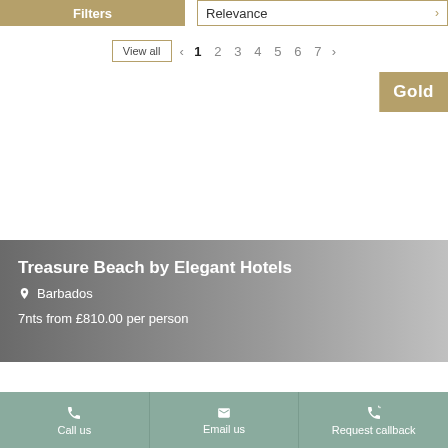Filters | Relevance
View all  < 1 2 3 4 5 6 7 >
[Figure (other): Gold badge label in top right corner of hotel listing card]
Treasure Beach by Elegant Hotels
Barbados
7nts from £810.00 per person
Call us | Email us | Request callback